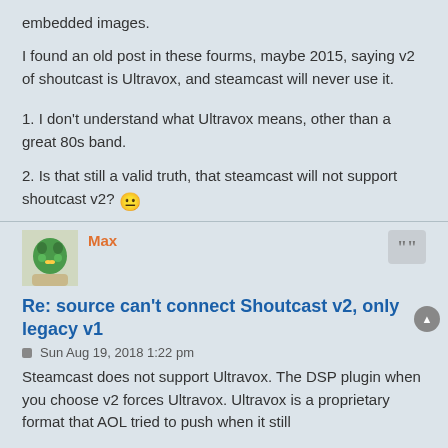embedded images.
I found an old post in these fourms, maybe 2015, saying v2 of shoutcast is Ultravox, and steamcast will never use it.
1. I don't understand what Ultravox means, other than a great 80s band.
2. Is that still a valid truth, that steamcast will not support shoutcast v2? 😐
Max
Re: source can't connect Shoutcast v2, only legacy v1
Sun Aug 19, 2018 1:22 pm
Steamcast does not support Ultravox. The DSP plugin when you choose v2 forces Ultravox. Ultravox is a proprietary format that AOL tried to push when it still held Nullsoft. At this point I think it is a tired...